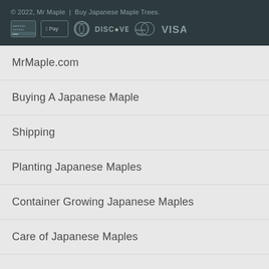© 2022, Mr Maple | Buy Japanese Maple Trees.
[Figure (other): Payment method icons: American Express, Apple Pay, Diners Club, Discover, MasterCard, Visa]
MrMaple.com
Buying A Japanese Maple
Shipping
Planting Japanese Maples
Container Growing Japanese Maples
Care of Japanese Maples